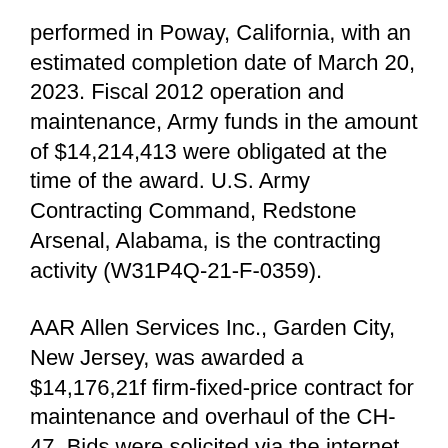performed in Poway, California, with an estimated completion date of March 20, 2023. Fiscal 2012 operation and maintenance, Army funds in the amount of $14,214,413 were obligated at the time of the award. U.S. Army Contracting Command, Redstone Arsenal, Alabama, is the contracting activity (W31P4Q-21-F-0359).
AAR Allen Services Inc., Garden City, New Jersey, was awarded a $14,176,21f firm-fixed-price contract for maintenance and overhaul of the CH-47. Bids were solicited via the internet with one received. Work locations and funding will be determined with each order, with an